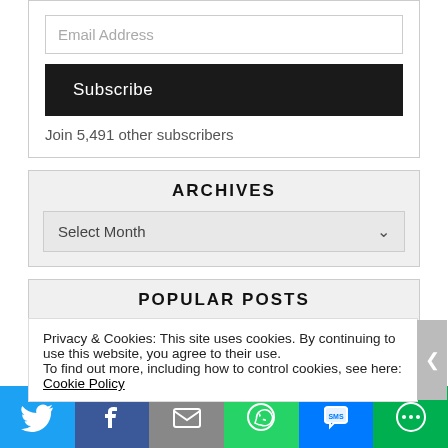Email Address
Subscribe
Join 5,491 other subscribers
ARCHIVES
Select Month
POPULAR POSTS
Edinburgh Fringe digital review: Just an Ordinary Lawyer
Privacy & Cookies: This site uses cookies. By continuing to use this website, you agree to their use.
To find out more, including how to control cookies, see here: Cookie Policy